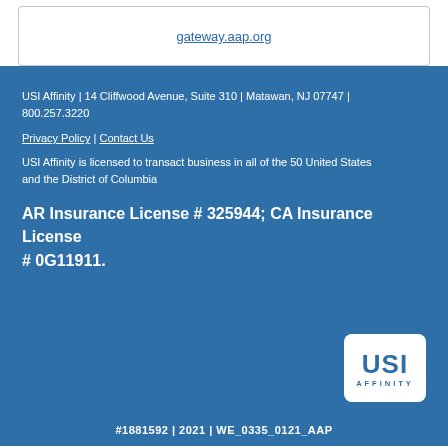gateway.aap.org
USI Affinity | 14 Cliffwood Avenue, Suite 310 | Matawan, NJ 07747 | 800.257.3220
Privacy Policy | Contact Us
USI Affinity is licensed to transact business in all of the 50 United States and the District of Columbia
AR Insurance License # 325944; CA Insurance License # 0G11911.
[Figure (logo): USI Affinity logo — white rounded rectangle with 'USI' in blue bold letters and 'AFFINITY' in small blue caps below]
#1881592 | 2021 | WE_0335_0121_AAP